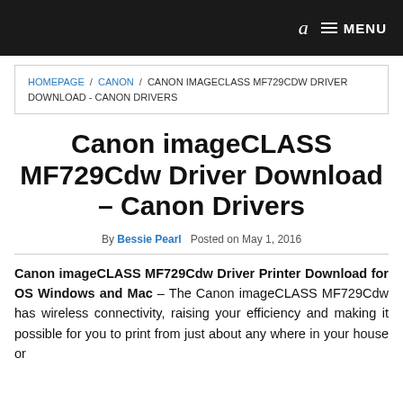a  MENU
HOMEPAGE / CANON / CANON IMAGECLASS MF729CDW DRIVER DOWNLOAD - CANON DRIVERS
Canon imageCLASS MF729Cdw Driver Download – Canon Drivers
By Bessie Pearl   Posted on May 1, 2016
Canon imageCLASS MF729Cdw Driver Printer Download for OS Windows and Mac – The Canon imageCLASS MF729Cdw has wireless connectivity, raising your efficiency and making it possible for you to print from just about any where in your house or